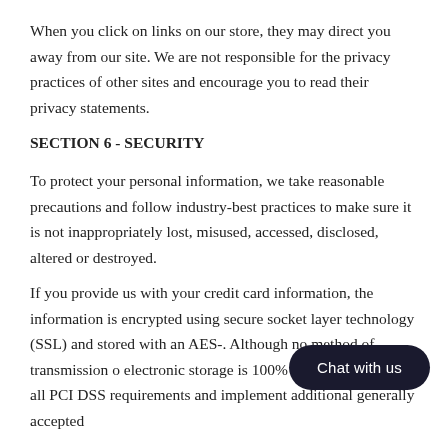When you click on links on our store, they may direct you away from our site. We are not responsible for the privacy practices of other sites and encourage you to read their privacy statements.
SECTION 6 - SECURITY
To protect your personal information, we take reasonable precautions and follow industry-best practices to make sure it is not inappropriately lost, misused, accessed, disclosed, altered or destroyed.
If you provide us with your credit card information, the information is encrypted using secure socket layer technology (SSL) and stored with an AES-... Although no method of transmission o... electronic storage is 100% secure, we follow all PCI DSS requirements and implement additional generally accepted